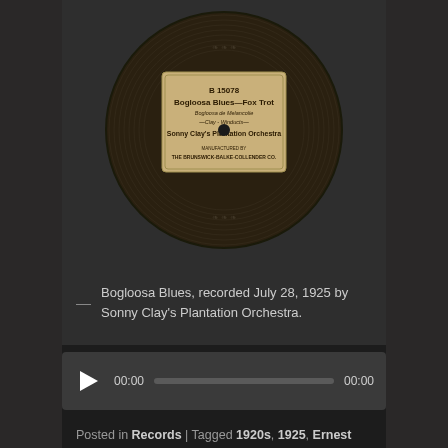[Figure (photo): A vinyl 78rpm record label. Label reads: B 15078, Bogloosa Blues — Fox Trot, Bogloosa de Melancolie, —Clay - Winducts—, Sonny Clay's Plantation Orchestra, Manufactured by The Brunswick-Balke-Collender Co.]
— Bogloosa Blues, recorded July 28, 1925 by Sonny Clay's Plantation Orchestra.
[Figure (screenshot): Audio player widget showing play button, 00:00 start time, progress bar, and 00:00 end time.]
Posted in Records | Tagged 1920s, 1925, Ernest Coycault, Fitzgerald, Jazz, Leonard Davidson, Los Angeles, Sonny Clay, Vocalion, W. B. Woodman, Willie McDaniel | 2 Replies